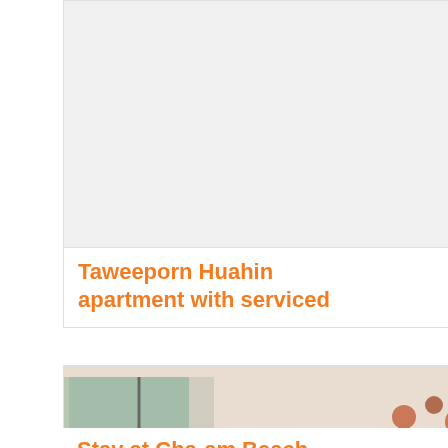[Figure (photo): Photo of a hotel/apartment living room interior with wooden furniture, sofa, coffee table, TV cabinet and wall decorations]
Taweeporn Huahin apartment with serviced
[Figure (photo): Photo of a living room interior at Cha-am Beach property]
Stay at Cha-am Beach